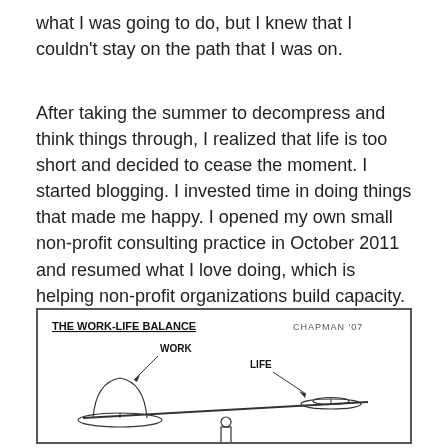what I was going to do, but I knew that I couldn't stay on the path that I was on.
After taking the summer to decompress and think things through, I realized that life is too short and decided to cease the moment. I started blogging. I invested time in doing things that made me happy. I opened my own small non-profit consulting practice in October 2011 and resumed what I love doing, which is helping non-profit organizations build capacity.
[Figure (illustration): A cartoon illustration titled 'THE WORK-LIFE BALANCE' by Chapman '07, showing a balance scale with a large mound labeled WORK on the left side (heavier, lower) and a small flat disk labeled LIFE on the right side (lighter, higher), demonstrating work outweighing life.]